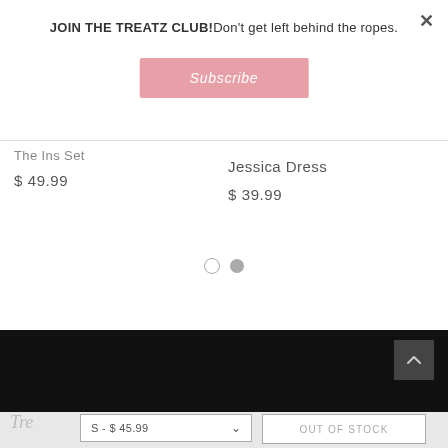JOIN THE TREATZ CLUB!Don't get left behind the ropes.
Subscribe
The Ins Set
$ 49.99
Jessica Dress
$ 39.99
[Figure (other): Carousel navigation dots — one empty circle and one filled circle]
[Figure (other): Black banner section with back-to-top arrow button]
S - $ 45.99
OUT OF STOCK